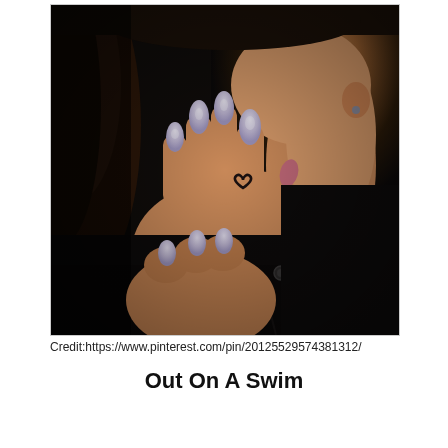[Figure (photo): A close-up photo of a person's hand touching their face/chin. The person has lavender/light purple acrylic nails and a small heart tattoo on their finger. They are wearing a dark black sweater/top. The background shows dark hair. The photo is taken in dim lighting.]
Credit:https://www.pinterest.com/pin/20125529574381312/
Out On A Swim